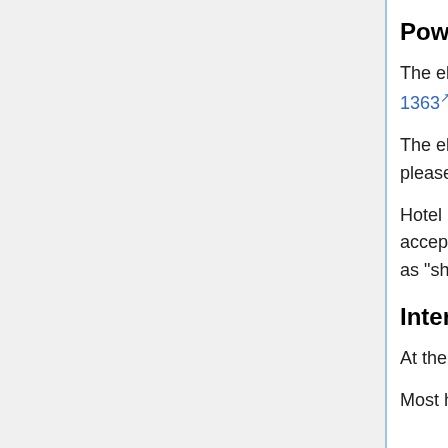Power supply
The electrical sockets are "British" IEC type G with three prongs a.k.a. BS 1363.
The electrical system is 220V / 50Hz. If you come from the Americas, please make sure your devices are compatible beforehand.
Hotel bathrooms are often an exception, providing 110/220V split sockets, accepting US and Europlug connectors (not grounded). They are marked as "shavers only".
Internet
At the venue, the GoogleGuest open WiFi is available at all times.
Most hotels and coffee shops will have